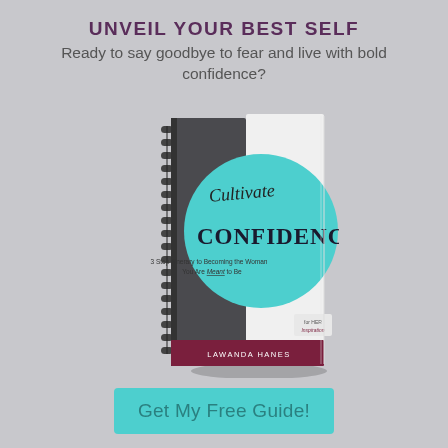UNVEIL YOUR BEST SELF
Ready to say goodbye to fear and live with bold confidence?
[Figure (illustration): A spiral-bound notebook/guide book with a two-tone cover (dark grey on left, white on right) featuring a large teal/turquoise circle with the title 'Cultivate Confidence' in script and serif fonts, subtitle '3 Step Itinerary to Becoming the Woman You Are Meant to Be', with a maroon bottom band and author name 'LAWANDA HANES']
Get My Free Guide!